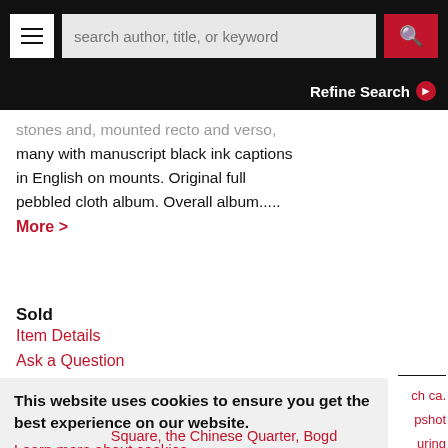search author, title, or keyword | Refine Search
stones and, mounted recto and verso, many with manuscript black ink captions in English on mounts. Original full pebbled cloth album. Overall album..... More >
Sold
Item Details
Ask a Question
This website uses cookies to ensure you get the best experience on our website.
Learn more about cookies
ACCEPT COOKIES
ch ca. pshot uring
atar Square, the Chinese Quarter, Bogd